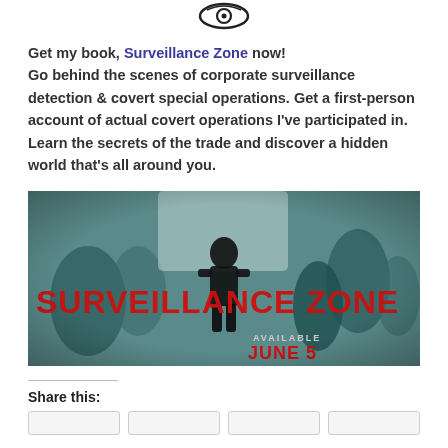[Figure (logo): Circular eye/target logo icon in dark color at top center]
Get my book, Surveillance Zone now! Go behind the scenes of corporate surveillance detection & covert special operations. Get a first-person account of actual covert operations I've participated in. Learn the secrets of the trade and discover a hidden world that's all around you.
[Figure (photo): Book promotional banner image with dark teal-toned photo of a man walking away in a crowd, with large red text reading 'SURVEILLANCE ZONE' and smaller text 'AVAILABLE JUNE 5']
Share this: